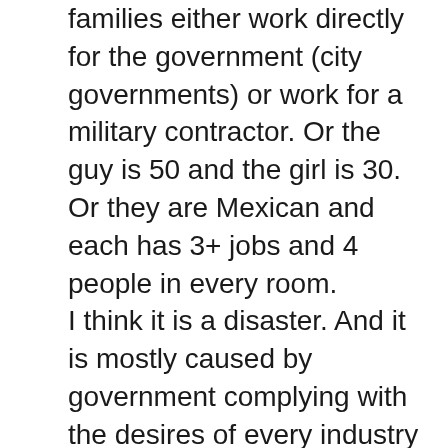families either work directly for the government (city governments) or work for a military contractor. Or the guy is 50 and the girl is 30. Or they are Mexican and each has 3+ jobs and 4 people in every room.
I think it is a disaster. And it is mostly caused by government complying with the desires of every industry and group who wants to make their product resource or service more expensive.
Real estate brokers want real estate prices to go up, home owners want real estate to go up, environmental lobbies want less construction. Even the developers (mostly well connected and red tape masters)